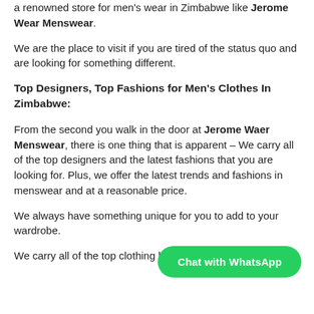a renowned store for men's wear in Zimbabwe like Jerome Wear Menswear.
We are the place to visit if you are tired of the status quo and are looking for something different.
Top Designers, Top Fashions for Men's Clothes In Zimbabwe:
From the second you walk in the door at Jerome Waer Menswear, there is one thing that is apparent – We carry all of the top designers and the latest fashions that you are looking for. Plus, we offer the latest trends and fashions in menswear and at a reasonable price.
We always have something unique for you to add to your wardrobe.
We carry all of the top clothing lines and menswear in